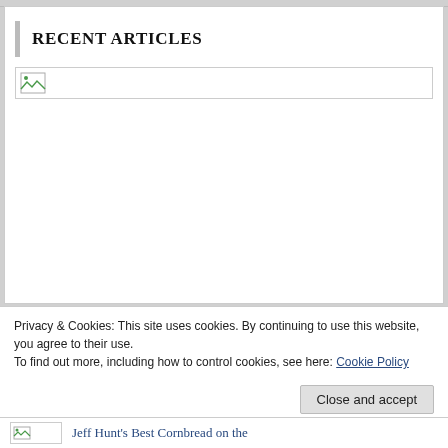RECENT ARTICLES
[Figure (photo): Broken image placeholder in a bordered box]
Privacy & Cookies: This site uses cookies. By continuing to use this website, you agree to their use.
To find out more, including how to control cookies, see here: Cookie Policy
Close and accept
Jeff Hunt's Best Cornbread on the